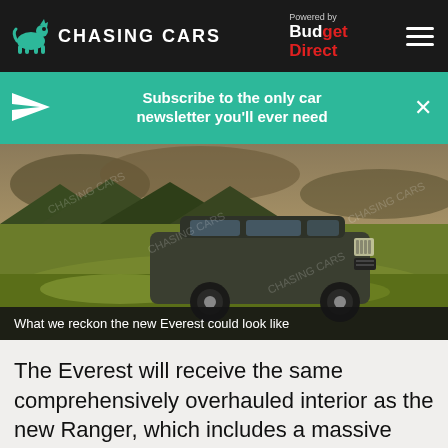CHASING CARS — Powered by Budget Direct
Subscribe to the only car newsletter you'll ever need
[Figure (photo): A dark green/grey SUV (Ford Everest rendering) parked on a grassy hilltop with mountains and dramatic sky in the background. Watermarked with 'CHASING CARS'.]
What we reckon the new Everest could look like
The Everest will receive the same comprehensively overhauled interior as the new Ranger, which includes a massive 12.0-inch central touchscreen likely to be standard on